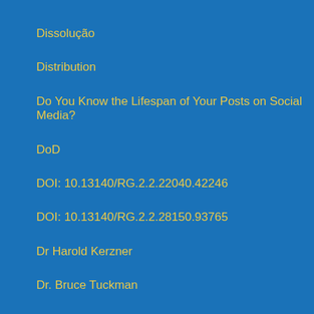Dissolução
Distribution
Do You Know the Lifespan of Your Posts on Social Media?
DoD
DOI: 10.13140/RG.2.2.22040.42246
DOI: 10.13140/RG.2.2.28150.93765
Dr Harold Kerzner
Dr. Bruce Tuckman
DUB